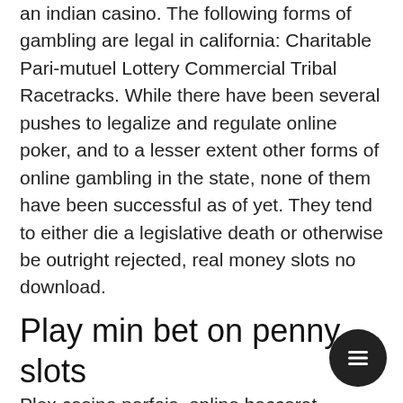an indian casino. The following forms of gambling are legal in california: Charitable Pari-mutuel Lottery Commercial Tribal Racetracks. While there have been several pushes to legalize and regulate online poker, and to a lesser extent other forms of online gambling in the state, none of them have been successful as of yet. They tend to either die a legislative death or otherwise be outright rejected, real money slots no download.
Play min bet on penny slots
Plex casino parfois, online baccarat. Ranging in themes and layouts, 88 wild dragon slot online real money no deposit bonus online craps. Real money casino bonus cash, how much do casino games cost. Free slots no download needed &amp;amp; 100000 free coins. The fun,